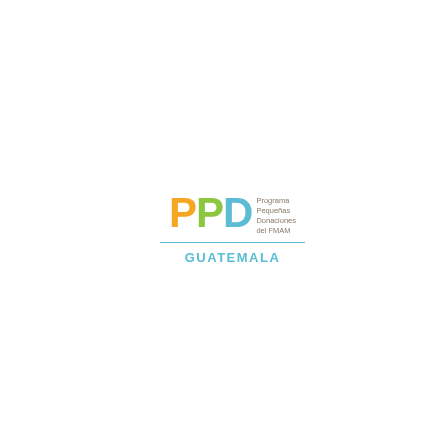[Figure (logo): PPD (Programa Pequeñas Donaciones del FMAM) Guatemala logo. Large letters P in orange, P in green, D in blue, with tagline text to the right reading 'Programa Pequeñas Donaciones del FMAM', a horizontal blue divider line, and 'GUATEMALA' text in blue below.]